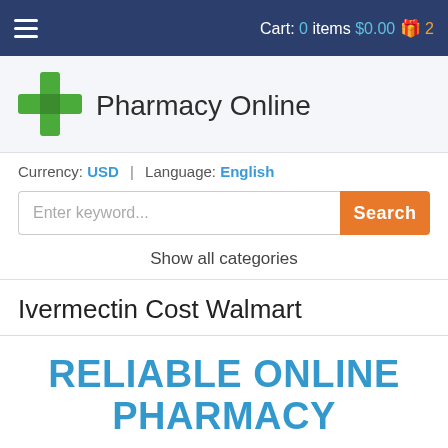☰  Cart: 0 items $0.00 🎁 2
[Figure (logo): Green plus/cross logo icon for Pharmacy Online]
Pharmacy Online
Currency: USD | Language: English
Enter keyword... Search
Show all categories
Ivermectin Cost Walmart
RELIABLE ONLINE PHARMACY
> Click here to order now